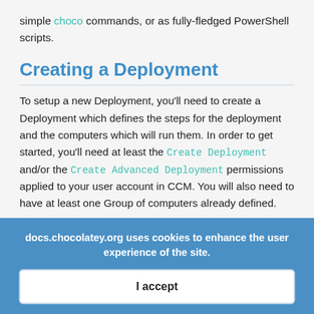simple choco commands, or as fully-fledged PowerShell scripts.
Creating a Deployment
To setup a new Deployment, you'll need to create a Deployment which defines the steps for the deployment and the computers which will run them. In order to get started, you'll need at least the Create Deployment and/or the Create Advanced Deployment permissions applied to your user account in CCM. You will also need to have at least one Group of computers already defined.
1. From the Central Management dashboard, select
docs.chocolatey.org uses cookies to enhance the user experience of the site.
I accept